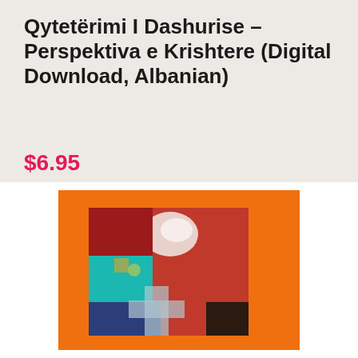Qytetërimi I Dashurise – Perspektiva e Krishtere (Digital Download, Albanian)
$6.95
Add to cart
[Figure (illustration): Abstract colorful artwork with orange border framing a mixed-media painting featuring red, teal, white, blue and dark colors with a cross-like shape visible in the lower center area]